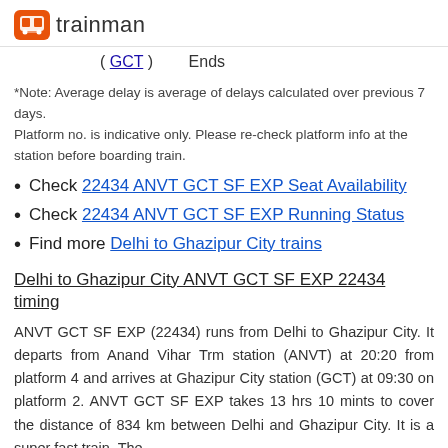trainman
( GCT )        Ends
*Note: Average delay is average of delays calculated over previous 7 days.
Platform no. is indicative only. Please re-check platform info at the station before boarding train.
Check 22434 ANVT GCT SF EXP Seat Availability
Check 22434 ANVT GCT SF EXP Running Status
Find more Delhi to Ghazipur City trains
Delhi to Ghazipur City ANVT GCT SF EXP 22434 timing
ANVT GCT SF EXP (22434) runs from Delhi to Ghazipur City. It departs from Anand Vihar Trm station (ANVT) at 20:20 from platform 4 and arrives at Ghazipur City station (GCT) at 09:30 on platform 2. ANVT GCT SF EXP takes 13 hrs 10 mints to cover the distance of 834 km between Delhi and Ghazipur City. It is a super fast train. The